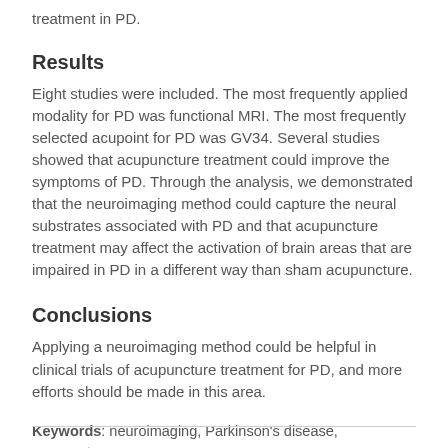treatment in PD.
Results
Eight studies were included. The most frequently applied modality for PD was functional MRI. The most frequently selected acupoint for PD was GV34. Several studies showed that acupuncture treatment could improve the symptoms of PD. Through the analysis, we demonstrated that the neuroimaging method could capture the neural substrates associated with PD and that acupuncture treatment may affect the activation of brain areas that are impaired in PD in a different way than sham acupuncture.
Conclusions
Applying a neuroimaging method could be helpful in clinical trials of acupuncture treatment for PD, and more efforts should be made in this area.
Keywords: neuroimaging, Parkinson's disease, acupuncture